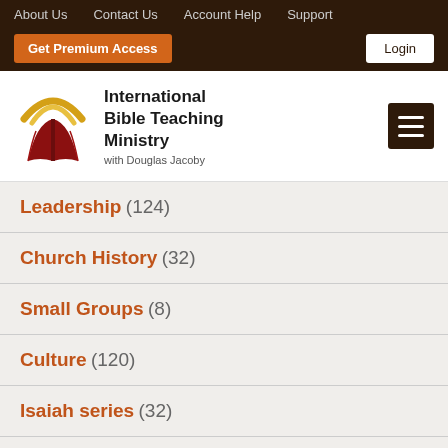About Us  Contact Us  Account Help  Support
Get Premium Access  Login
[Figure (logo): International Bible Teaching Ministry logo — open book with red pages and gold arc, with text: International Bible Teaching Ministry with Douglas Jacoby]
Leadership (124)
Church History (32)
Small Groups (8)
Culture (120)
Isaiah series (32)
Genesis (2)
Evidences (7)